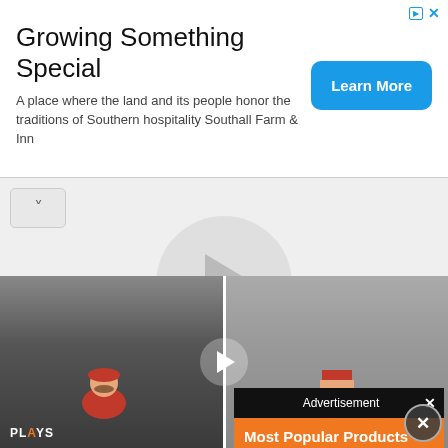[Figure (screenshot): Top banner advertisement: 'Growing Something Special - A place where the land and its people honor the traditions of Southern hospitality Southall Farm & Inn' with a blue 'Learn More' button]
[Figure (screenshot): Video player area with a large circular play button on a light gray background, with a small up-chevron button in the top-left]
A guide on how t... plicant Remaster Ver.1.224744871... here to get Titanium Alloy, b... emies that drop it, best ways to f... make
[Figure (screenshot): Advertisement popup overlay with header 'Advertisement' and close X button, orange background showing 'Most Popular Products' and 'Updated Weekly!' with shopping/product icons]
[Figure (screenshot): Bottom video strip split into ORIGINAL and DEMAKE sections showing game comparison footage with PLAYS branding, a center play button, and a close button]